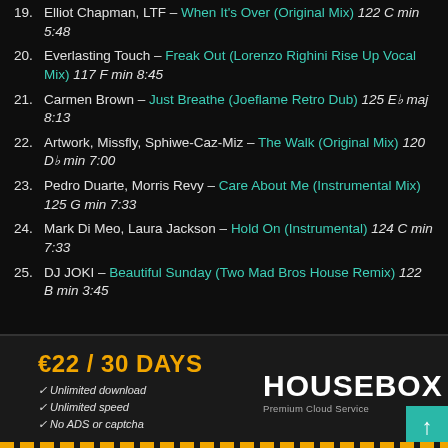19. Elliot Chapman, LTF – When It's Over (Original Mix) 122 C min 5:48
20. Everlasting Touch – Freak Out (Lorenzo Righini Rise Up Vocal Mix) 117 F min 8:45
21. Carmen Brown – Just Breathe (Joeflame Retro Dub) 125 E♭ maj 8:13
22. Artwork, Missfly, Sphiwe-Caz-Miz – The Walk (Original Mix) 120 D♭ min 7:00
23. Pedro Duarte, Morris Revy – Care About Me (Instrumental Mix) 125 G min 7:33
24. Mark Di Meo, Laura Jackson – Hold On (Instrumental) 124 C min 7:33
25. DJ JOKI – Beautiful Sunday (Two Mad Bros House Remix) 122 B min 3:45
[Figure (infographic): HouseBox advertisement banner: €22 / 30 DAYS, Unlimited download, Unlimited speed, No ADS or captcha, HOUSEBOX Premium Cloud Service logo with teal up-arrow button]